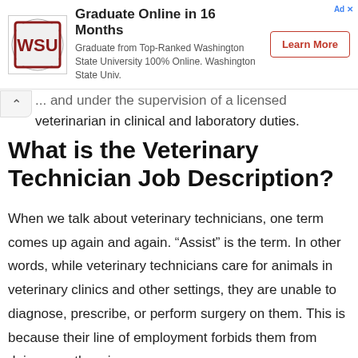[Figure (other): Advertisement banner for Washington State University online graduate program with logo, text, and 'Learn More' button]
... and under the supervision of a licensed veterinarian in clinical and laboratory duties.
What is the Veterinary Technician Job Description?
When we talk about veterinary technicians, one term comes up again and again. “Assist” is the term. In other words, while veterinary technicians care for animals in veterinary clinics and other settings, they are unable to diagnose, prescribe, or perform surgery on them. This is because their line of employment forbids them from doing so, otherwise...